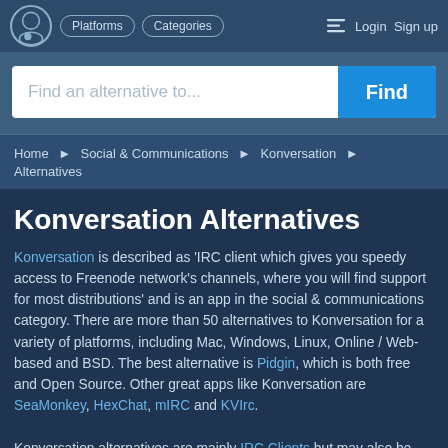Platforms  Categories  Login  Sign up
Find an alternative to...  Find
Home ▶ Social & Communications ▶ Konversation ▶ Alternatives
Konversation Alternatives
Konversation is described as 'IRC client which gives you speedy access to Freenode network's channels, where you will find support for most distributions' and is an app in the social & communications category. There are more than 50 alternatives to Konversation for a variety of platforms, including Mac, Windows, Linux, Online / Web-based and BSD. The best alternative is Pidgin, which is both free and Open Source. Other great apps like Konversation are SeaMonkey, HexChat, mIRC and KVIrc. Konversation alternatives are mainly IRC Clients but may also be Instant Messengers or Web Browsers. Filter by these if you